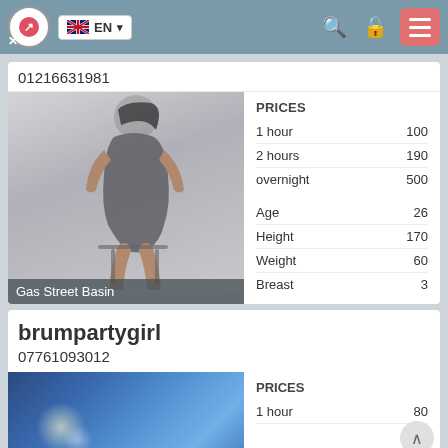EN (navigation bar with language selector, search, lock, and menu icons)
01216631981
[Figure (photo): Woman in grey dress seated on a stool with dark hair, face blurred, with location label 'Gas Street Basin' at bottom]
|  |  |
| --- | --- |
| PRICES |  |
| 1 hour | 100 |
| 2 hours | 190 |
| overnight | 500 |
| Age | 26 |
| Height | 170 |
| Weight | 60 |
| Breast | 3 |
Gas Street Basin
brumpartygirl
07761093012
[Figure (photo): Purple/blue toned photo, appears to be a nightclub or party scene with lights]
|  |  |
| --- | --- |
| PRICES |  |
| 1 hour | 80 |